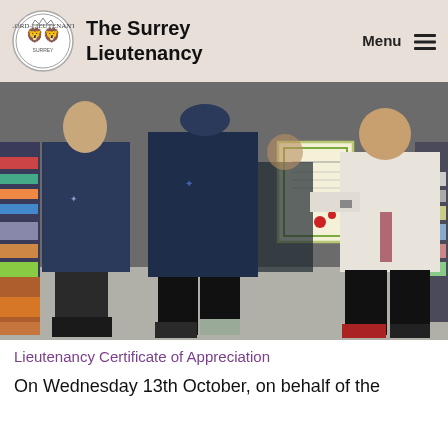The Surrey Lieutenancy
[Figure (photo): Four people standing in a shop/convenience store aisle. Two people on the left are wearing dark navy blue uniforms/jackets with a logo. One person in the centre-right is holding a framed Lieutenancy Certificate of Appreciation with a green decorative border and red seal. Person on the far right is wearing a cream/white top and black trousers with red shoes.]
Lieutenancy Certificate of Appreciation
On Wednesday 13th October, on behalf of the